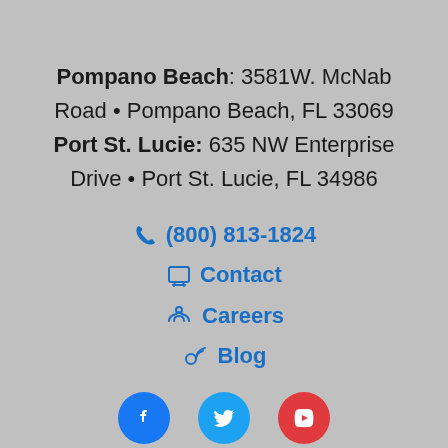Pompano Beach: 3581W. McNab Road • Pompano Beach, FL 33069 Port St. Lucie: 635 NW Enterprise Drive • Port St. Lucie, FL 34986
(800) 813-1824
Contact
Careers
Blog